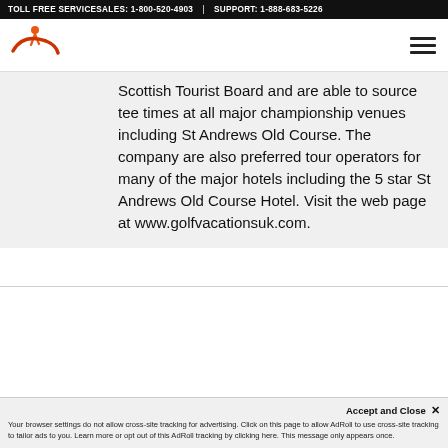TOLL FREE SERVICESALES: 1-800-520-4903  |  SUPPORT: 1-888-683-5226
[Figure (logo): Company logo with orange running figure and curved red/orange swoosh mark]
Scottish Tourist Board and are able to source tee times at all major championship venues including St Andrews Old Course. The company are also preferred tour operators for many of the major hotels including the 5 star St Andrews Old Course Hotel. Visit the web page at www.golfvacationsuk.com.
Accept and Close ×
Your browser settings do not allow cross-site tracking for advertising. Click on this page to allow AdRoll to use cross-site tracking to tailor ads to you. Learn more or opt out of this AdRoll tracking by clicking here. This message only appears once.